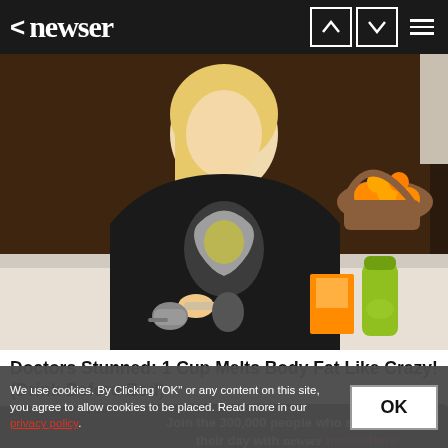< newser [up] [down] [menu]
[Figure (photo): A woman in a black patterned hoodie stands at a kitchen counter holding a measuring cup and a small package, with a green juice bottle and orange juice carton on the counter. A fruit basket with oranges is visible in the background.]
Doctors Stunned: 1 Cup Melts Body Fat Like Crazy! (Drink Before Bed)
Join the 300,000 people who start and end their day with newser newsletters
We use cookies. By Clicking "OK" or any content on this site, you agree to allow cookies to be placed. Read more in our privacy policy.